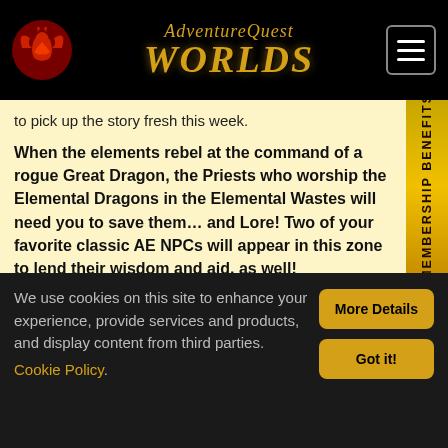AdventureQuest Worlds
to pick up the story fresh this week.
When the elements rebel at the command of a rogue Great Dragon, the Priests who worship the Elemental Dragons in the Elemental Wastes will need you to save them… and Lore! Two of your favorite classic AE NPCs will appear in this zone to lend their wisdom and aid, as well!
Tags: Etherstorm Wastes, None,
We use cookies on this site to enhance your experience, provide services and products, and display content from third parties. Cookie Policy.